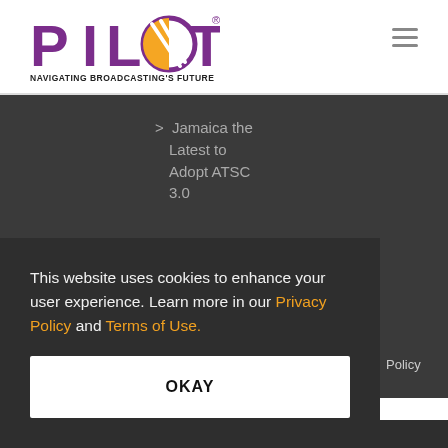[Figure (logo): PILOT logo with orange globe graphic and tagline NAVIGATING BROADCASTING'S FUTURE]
> Jamaica the Latest to Adopt ATSC 3.0
This website uses cookies to enhance your user experience. Learn more in our Privacy Policy and Terms of Use.
OKAY